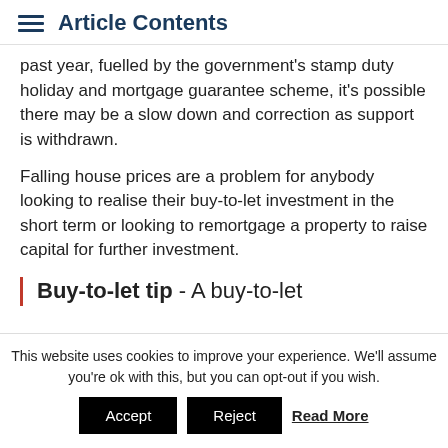Article Contents
past year, fuelled by the government's stamp duty holiday and mortgage guarantee scheme, it's possible there may be a slow down and correction as support is withdrawn.
Falling house prices are a problem for anybody looking to realise their buy-to-let investment in the short term or looking to remortgage a property to raise capital for further investment.
Buy-to-let tip - A buy-to-let
This website uses cookies to improve your experience. We'll assume you're ok with this, but you can opt-out if you wish.